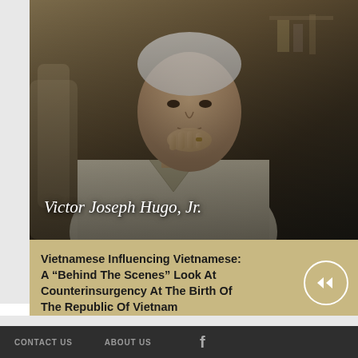[Figure (photo): Elderly man, appears to be Victor Joseph Hugo Jr., sitting and resting his chin on his hand, photographed in an indoor setting with warm tones]
Victor Joseph Hugo, Jr.
Vietnamese Influencing Vietnamese: A “Behind The Scenes” Look At Counterinsurgency At The Birth Of The Republic Of Vietnam
CONTACT US   ABOUT US
WEST POINT DEPARTMENT OF HISTORY   U.S. MILITARY ACADEMY